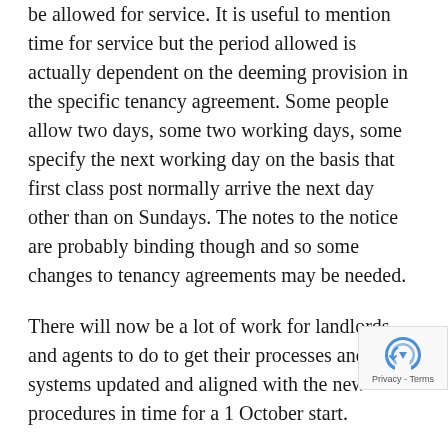be allowed for service. It is useful to mention time for service but the period allowed is actually dependent on the deeming provision in the specific tenancy agreement. Some people allow two days, some two working days, some specify the next working day on the basis that first class post normally arrive the next day other than on Sundays. The notes to the notice are probably binding though and so some changes to tenancy agreements may be needed.
There will now be a lot of work for landlords and agents to do to get their processes and systems updated and aligned with the new procedures in time for a 1 October start.
Finally, there is a surprising new obligation on the Secretary of State. He is now required to issue report every five years. It is required to report the effectiveness of the new s21 notice and assess whether changes need to be made to the...